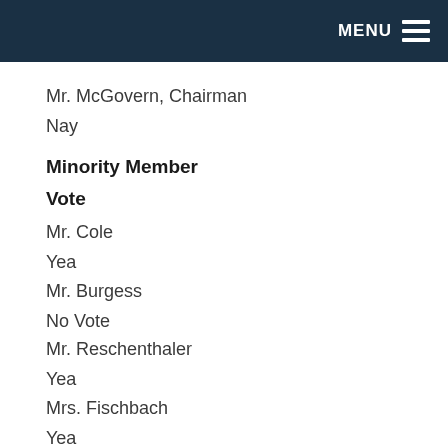MENU
Mr. McGovern, Chairman
Nay
Minority Member Vote
Mr. Cole
Yea
Mr. Burgess
No Vote
Mr. Reschenthaler
Yea
Mrs. Fischbach
Yea
Rules Committee Record Vote No. 59